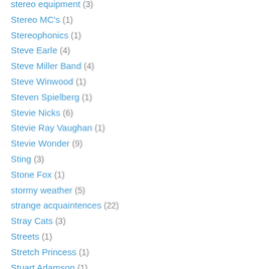stereo equipment (3)
Stereo MC's (1)
Stereophonics (1)
Steve Earle (4)
Steve Miller Band (4)
Steve Winwood (1)
Steven Spielberg (1)
Stevie Nicks (6)
Stevie Ray Vaughan (1)
Stevie Wonder (9)
Sting (3)
Stone Fox (1)
stormy weather (5)
strange acquaintences (22)
Stray Cats (3)
Streets (1)
Stretch Princess (1)
Stuart Adamson (1)
Styx (8)
Suede (1)